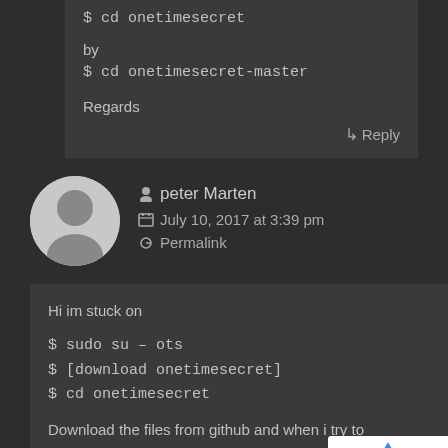$ cd onetimesecret
by
$ cd onetimesecret-master

Regards
↳ Reply
peter Marten
July 10, 2017 at 3:39 pm
Permalink
Hi im stuck on

$ sudo su – ots
$ [download onetimesecret]
$ cd onetimesecret

Download the files from github and when i try to